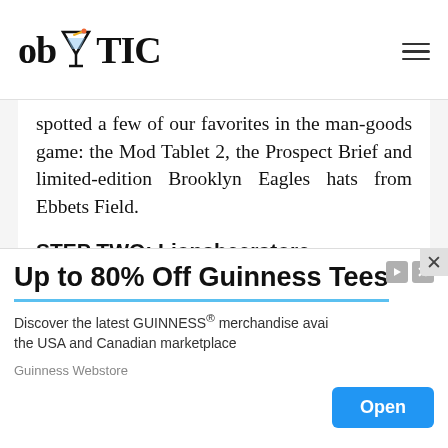ob TIC
spotted a few of our favorites in the man-goods game: the Mod Tablet 2, the Prospect Brief and limited-edition Brooklyn Eagles hats from Ebbets Field.
STEP TWO: Lionsbeerstore
Not just a bar. Not only a restaurant. More than a bodega. It&rsquos a beer experience. Pull up a seat for comfort foods like Chicken Soup with Dumplings, Texas Fried Chicken and a Sausage Platter with Four Alarm Mustard, all
[Figure (infographic): Advertisement banner: Up to 80% Off Guinness Tees. Discover the latest GUINNESS merchandise available in the USA and Canadian marketplace. Guinness Webstore. Open button.]